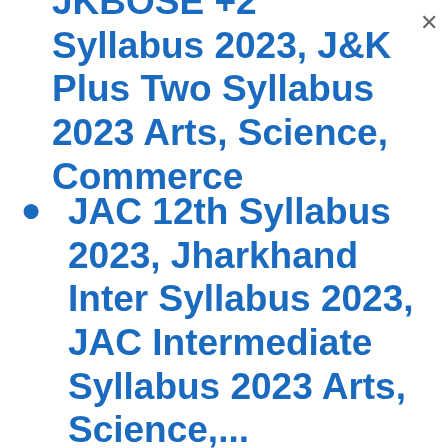JKBOSE +2 Syllabus 2023, J&K Plus Two Syllabus 2023 Arts, Science, Commerce
JAC 12th Syllabus 2023, Jharkhand Inter Syllabus 2023, JAC Intermediate Syllabus 2023 Arts, Science,...
HBSE 12th Syllabus 2023, Haryana 12th Syllabus 2023, HBSE 12th Syllabus 2023...